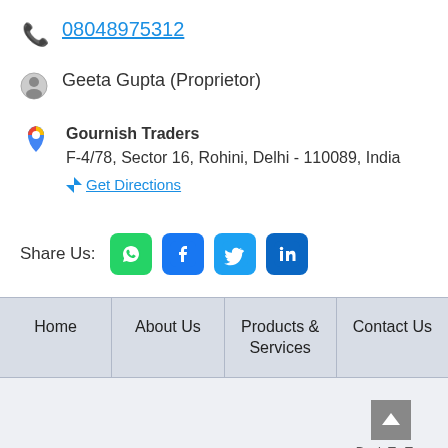08048975312
Geeta Gupta (Proprietor)
Gournish Traders
F-4/78, Sector 16, Rohini, Delhi - 110089, India
Get Directions
Share Us:
| Home | About Us | Products & Services | Contact Us |
| --- | --- | --- | --- |
Back To Top